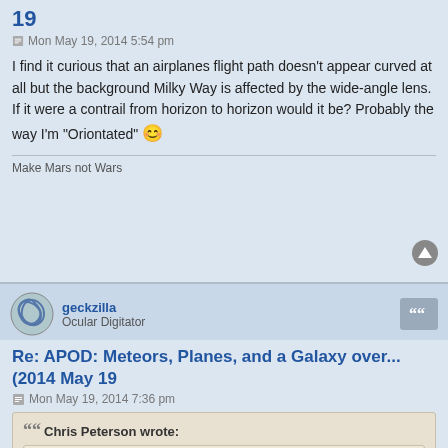19
Mon May 19, 2014 5:54 pm
I find it curious that an airplanes flight path doesn't appear curved at all but the background Milky Way is affected by the wide-angle lens. If it were a contrail from horizon to horizon would it be? Probably the way I'm "Oriontated" 😊
Make Mars not Wars
geckzilla
Ocular Digitator
Re: APOD: Meteors, Planes, and a Galaxy over... (2014 May 19
Mon May 19, 2014 7:36 pm
Chris Peterson wrote:
owlice wrote:
Oriented is the word you want.
Unless you are a Brit, or possibly from Down Under, in which case orientated would be the more common word.